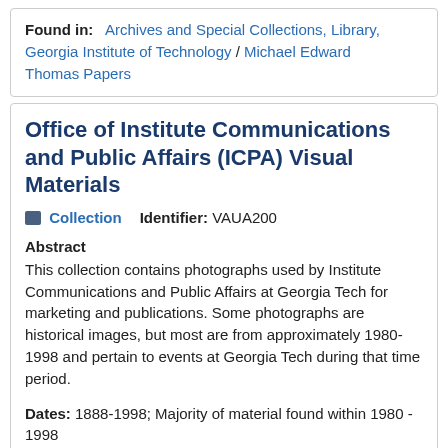Found in: Archives and Special Collections, Library, Georgia Institute of Technology / Michael Edward Thomas Papers
Office of Institute Communications and Public Affairs (ICPA) Visual Materials
Collection   Identifier: VAUA200
Abstract
This collection contains photographs used by Institute Communications and Public Affairs at Georgia Tech for marketing and publications. Some photographs are historical images, but most are from approximately 1980-1998 and pertain to events at Georgia Tech during that time period.
Dates: 1888-1998; Majority of material found within 1980 - 1998
Found in: Archives and Special Collections, Library, Georgia Institute of Technology / Office of Institute